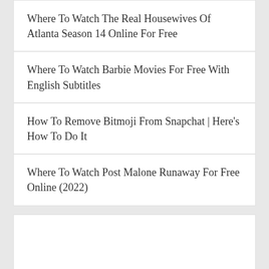Where To Watch The Real Housewives Of Atlanta Season 14 Online For Free
Where To Watch Barbie Movies For Free With English Subtitles
How To Remove Bitmoji From Snapchat | Here's How To Do It
Where To Watch Post Malone Runaway For Free Online (2022)